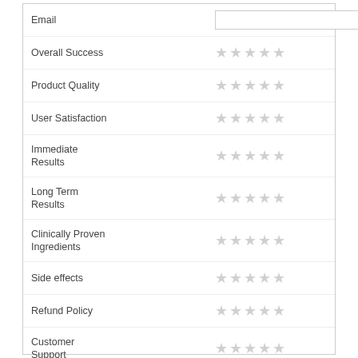Email
Overall Success
Product Quality
User Satisfaction
Immediate Results
Long Term Results
Clinically Proven Ingredients
Side effects
Refund Policy
Customer Support
Comments